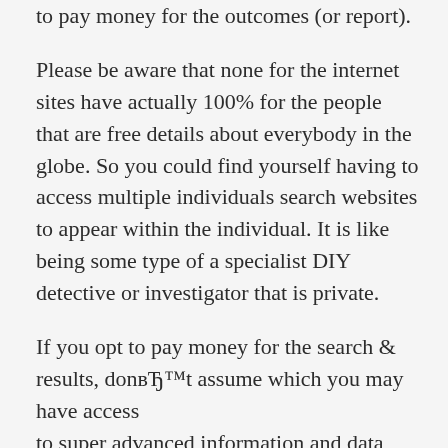to pay money for the outcomes (or report).
Please be aware that none for the internet sites have actually 100% for the people that are free details about everybody in the globe. So you could find yourself having to access multiple individuals search websites to appear within the individual. It is like being some type of a specialist DIY detective or investigator that is private.
If you opt to pay money for the search & results, donвЂ™t assume which you may have access to super advanced information and data like everything we see when you look at the films when they appear to utilize some spy pc software to locate individuals free. The stark